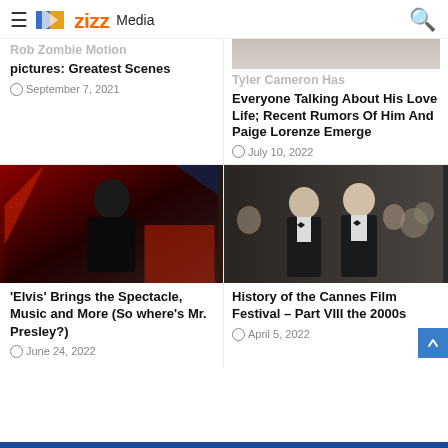Zizz Media
Rob Zombie Motion pictures: Greatest Scenes
September 7, 2021
[Figure (photo): Partial photo visible at top right]
Tyler Cameron Has Everyone Talking About His Love Life; Recent Rumors Of Him And Paige Lorenze Emerge
July 10, 2022
[Figure (photo): Man in black outfit against red background — Elvis movie still]
'Elvis' Brings the Spectacle, Music and More (So where's Mr. Presley?)
June 24, 2022
[Figure (photo): Two men in black suits with bow ties at formal event — Cannes Film Festival article image]
History of the Cannes Film Festival – Part VIII the 2000s
April 5, 2022